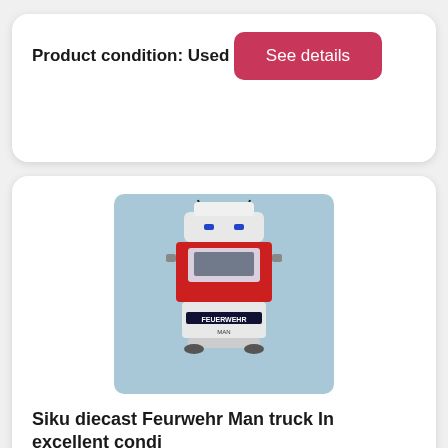Product condition: Used
See details
[Figure (photo): Top-down view of a Siku diecast Feuerwehr MAN fire truck toy model, red and white, on a light blue background]
Siku diecast Feurwehr Man truck In excellent condi
In excellent condition, only ever been